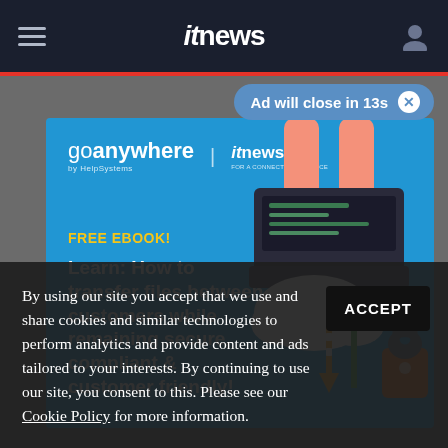itnews
Ad will close in 13s
[Figure (infographic): GoAnywhere by HelpSystems and itnews advertisement banner. Blue background with illustration of hands typing on laptop with cloud, upload/download arrows, and padlock. Text: FREE EBOOK! Learn: How to transfer files between customers while remaining secure, compliant & customer friendly!]
By using our site you accept that we use and share cookies and similar technologies to perform analytics and provide content and ads tailored to your interests. By continuing to use our site, you consent to this. Please see our Cookie Policy for more information.